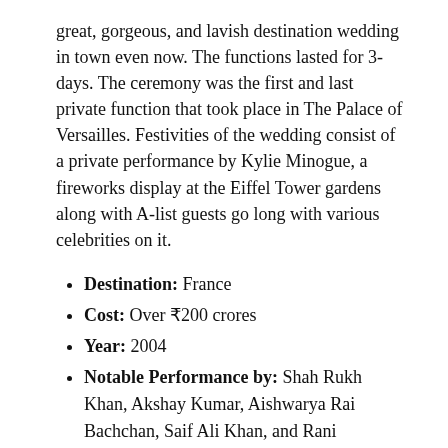great, gorgeous, and lavish destination wedding in town even now. The functions lasted for 3-days. The ceremony was the first and last private function that took place in The Palace of Versailles. Festivities of the wedding consist of a private performance by Kylie Minogue, a fireworks display at the Eiffel Tower gardens along with A-list guests go long with various celebrities on it.
Destination: France
Cost: Over ₹200 crores
Year: 2004
Notable Performance by: Shah Rukh Khan, Akshay Kumar, Aishwarya Rai Bachchan, Saif Ali Khan, and Rani Mukherjee.
No.7. Lalit Tanwar and Yogita Jaunapuria
Lalit Tanwar and Yogita Jaunapuria's wedding is the